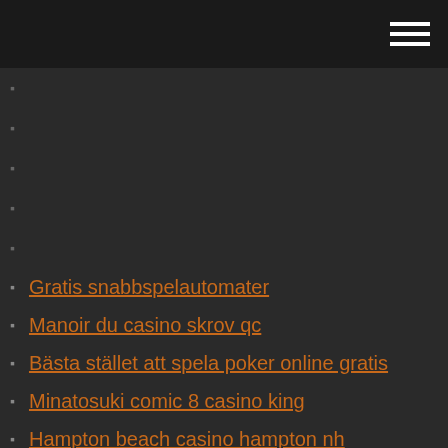Gratis snabbspelautomater
Manoir du casino skrov qc
Bästa stället att spela poker online gratis
Minatosuki comic 8 casino king
Hampton beach casino hampton nh
Khach san co casino o nha trang
$ 1 svart jack online
Snurra på lyckahjulet
Situs casino online terpercaya